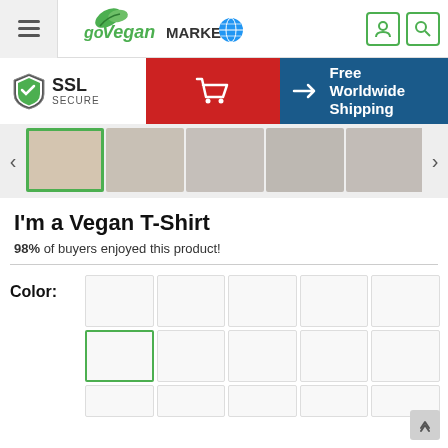[Figure (screenshot): Go Vegan Market website header with hamburger menu, logo, and user/search icons]
[Figure (screenshot): SSL Secure badge, red shopping cart button, and Free Worldwide Shipping banner]
[Figure (screenshot): Product image thumbnails carousel showing vegan-themed t-shirts]
I'm a Vegan T-Shirt
98% of buyers enjoyed this product!
Color:
[Figure (screenshot): Color selection swatches grid with first swatch of second row selected (green border)]